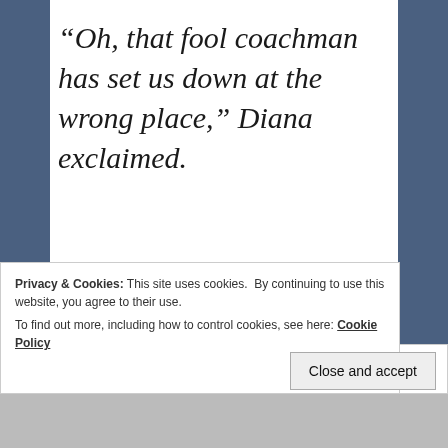“Oh, that fool coachman has set us down at the wrong place,” Diana exclaimed.
Vivien felt sorry for Diana’s new driver.  He had only been brought up from the country just the week
Privacy & Cookies: This site uses cookies.  By continuing to use this website, you agree to their use.
To find out more, including how to control cookies, see here: Cookie Policy
Close and accept